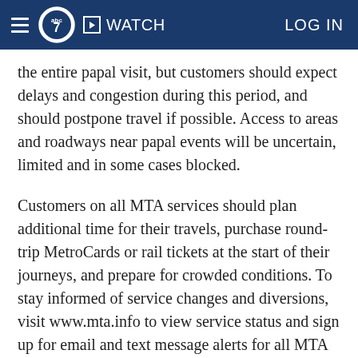≡ abc7 ▶ WATCH LOG IN
the entire papal visit, but customers should expect delays and congestion during this period, and should postpone travel if possible. Access to areas and roadways near papal events will be uncertain, limited and in some cases blocked.
Customers on all MTA services should plan additional time for their travels, purchase round-trip MetroCards or rail tickets at the start of their journeys, and prepare for crowded conditions. To stay informed of service changes and diversions, visit www.mta.info to view service status and sign up for email and text message alerts for all MTA services.